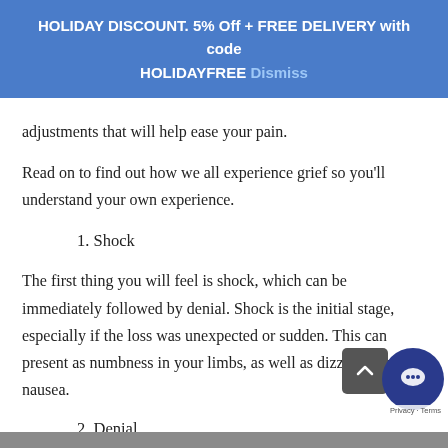HOLIDAY DISCOUNT. 5% Off + FREE DELIVERY with code HOLIDAYFREE Dismiss
adjustments that will help ease your pain.
Read on to find out how we all experience grief so you'll understand your own experience.
1. Shock
The first thing you will feel is shock, which can be immediately followed by denial. Shock is the initial stage, especially if the loss was unexpected or sudden. This can present as numbness in your limbs, as well as dizziness and nausea.
2. Denial